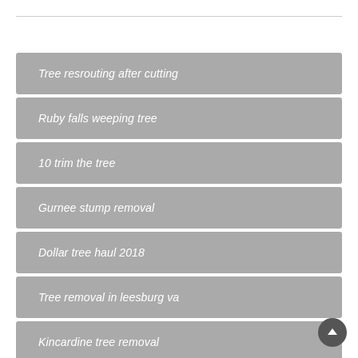Tree resrouting after cutting
Ruby falls weeping tree
10 trim the tree
Gurnee stump removal
Dollar tree haul 2018
Tree removal in leesburg va
Kincardine tree removal